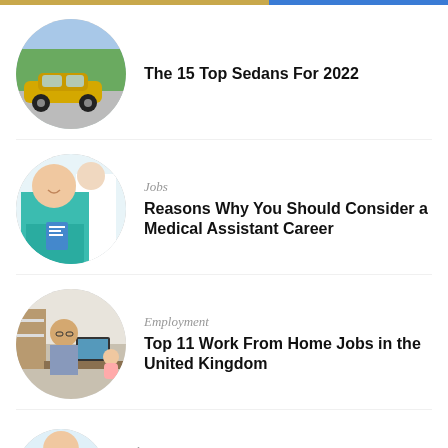[Figure (photo): Circular cropped photo of a yellow sports/sedan car driving on a road with trees in background]
The 15 Top Sedans For 2022
[Figure (photo): Circular cropped photo of a smiling medical assistant in teal scrubs holding a clipboard, with doctors in background]
Jobs
Reasons Why You Should Consider a Medical Assistant Career
[Figure (photo): Circular cropped photo of a man working from home at a desk with a baby nearby]
Employment
Top 11 Work From Home Jobs in the United Kingdom
[Figure (photo): Circular cropped photo of a professional cleaner in blue apron holding cleaning supplies]
Jobs
Top Paying Professional Cleaning Jobs in